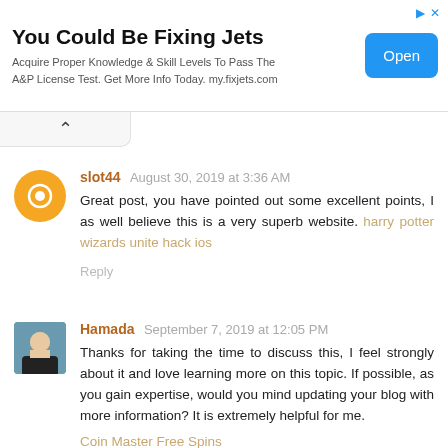[Figure (other): Advertisement banner: 'You Could Be Fixing Jets' with Open button]
slot44  August 30, 2019 at 3:36 AM
Great post, you have pointed out some excellent points, I as well believe this is a very superb website. harry potter wizards unite hack ios
Reply
Hamada  September 7, 2019 at 12:05 PM
Thanks for taking the time to discuss this, I feel strongly about it and love learning more on this topic. If possible, as you gain expertise, would you mind updating your blog with more information? It is extremely helpful for me.
Coin Master Free Spins
Bigo Live hack